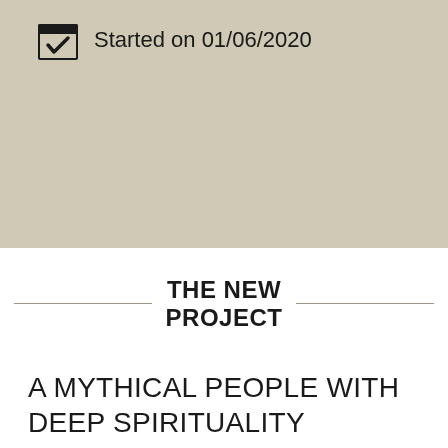[Figure (other): Beige/tan background section with a calendar checkbox icon and text 'Started on 01/06/2020']
Started on 01/06/2020
THE NEW PROJECT
A MYTHICAL PEOPLE WITH DEEP SPIRITUALITY